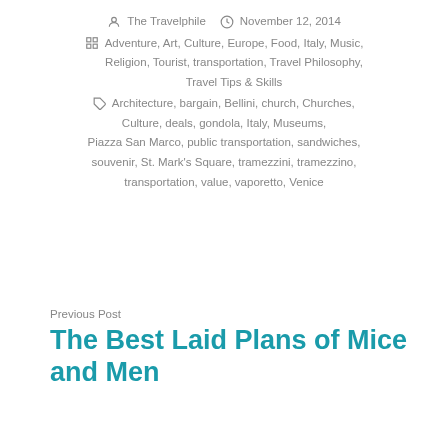The Travelphile   November 12, 2014
Adventure, Art, Culture, Europe, Food, Italy, Music, Religion, Tourist, transportation, Travel Philosophy, Travel Tips & Skills
Architecture, bargain, Bellini, church, Churches, Culture, deals, gondola, Italy, Museums, Piazza San Marco, public transportation, sandwiches, souvenir, St. Mark's Square, tramezzini, tramezzino, transportation, value, vaporetto, Venice
Previous Post
The Best Laid Plans of Mice and Men